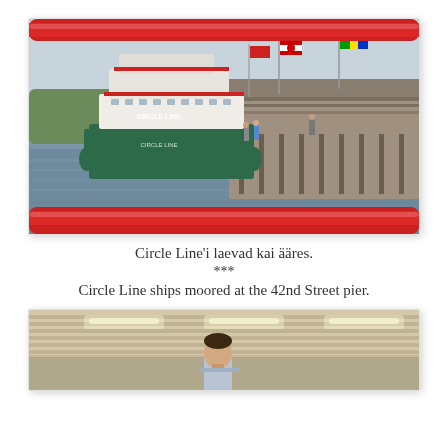[Figure (photo): Circle Line ships moored at a pier, viewed through red metal railing. Two white and green vessels with 'Circle Line' written on them are docked at the 42nd Street pier on a river. Flags visible including Canadian flag. A covered pier structure extends to the right. Hazy sky and green shoreline in background.]
Circle Line'i laevad kai ääres.
***
Circle Line ships moored at the 42nd Street pier.
[Figure (photo): Interior view of the Circle Line boat showing a man standing under a covered deck area with fluorescent lighting. The ceiling has a ribbed/corrugated structure with light fixtures.]